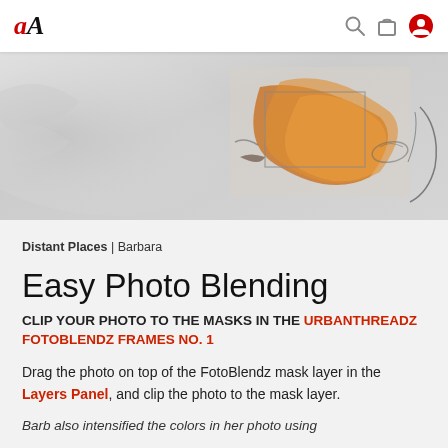aA — navigation header with search, bag, and user icons
[Figure (photo): Artistic blended photo showing abstract colorful composition with orange/yellow tones on grey/white background, partially cropped at top of page]
Distant Places | Barbara
Easy Photo Blending
CLIP YOUR PHOTO TO THE MASKS IN THE URBANTHREADZ FOTOBLENDZ FRAMES NO. 1
Drag the photo on top of the FotoBlendz mask layer in the Layers Panel, and clip the photo to the mask layer.
Barb also intensified the colors in her photo using